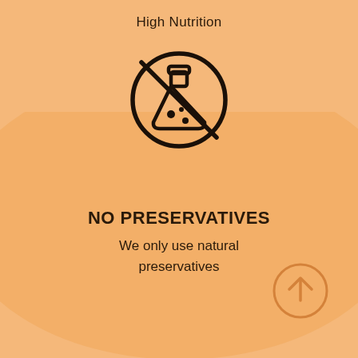High Nutrition
[Figure (illustration): A no-preservatives icon: a laboratory flask (Erlenmeyer flask with bubbles) inside a circle with a diagonal slash through it, indicating no preservatives. Black line art on orange background.]
NO PRESERVATIVES
We only use natural preservatives
[Figure (illustration): A circular button with an upward arrow icon, orange border and arrow on a light orange background, positioned at the bottom right.]